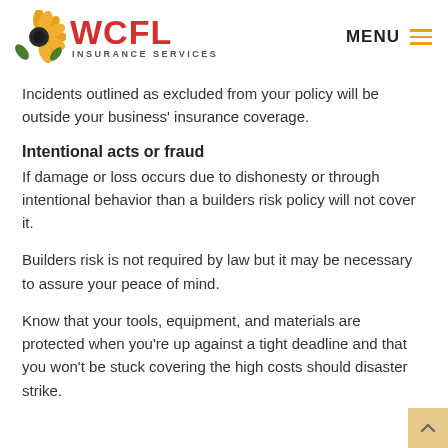WCFL INSURANCE SERVICES | MENU
Incidents outlined as excluded from your policy will be outside your business' insurance coverage.
Intentional acts or fraud
If damage or loss occurs due to dishonesty or through intentional behavior than a builders risk policy will not cover it.
Builders risk is not required by law but it may be necessary to assure your peace of mind.
Know that your tools, equipment, and materials are protected when you're up against a tight deadline and that you won't be stuck covering the high costs should disaster strike.